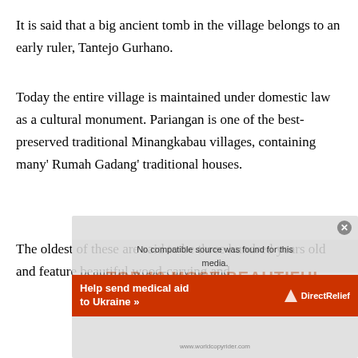It is said that a big ancient tomb in the village belongs to an early ruler, Tantejo Gurhano.
Today the entire village is maintained under domestic law as a cultural monument. Pariangan is one of the best-preserved traditional Minangkabau villages, containing many’ Rumah Gadang’ traditional houses.
The oldest of these are said to be three hundred years old and feature beautiful wood-carving and
[Figure (screenshot): Video player overlay showing 'No compatible source was found for this media.' with a close button, overlapping the text content. Below the video overlay is an advertisement banner reading 'Help send medical aid to Ukraine' with a DirectRelief logo.]